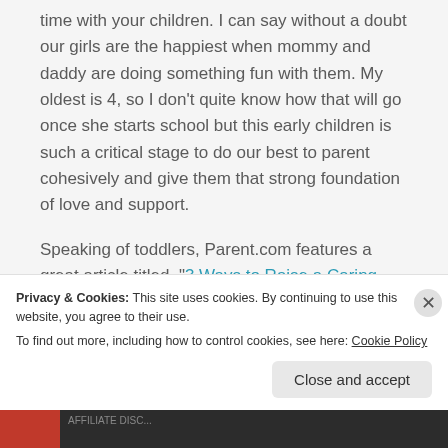time with your children. I can say without a doubt our girls are the happiest when mommy and daddy are doing something fun with them. My oldest is 4, so I don't quite know how that will go once she starts school but this early children is such a critical stage to do our best to parent cohesively and give them that strong foundation of love and support.

Speaking of toddlers, Parent.com features a great article titled, “3 Ways to Raise a Caring
Privacy & Cookies: This site uses cookies. By continuing to use this website, you agree to their use.
To find out more, including how to control cookies, see here: Cookie Policy
Close and accept